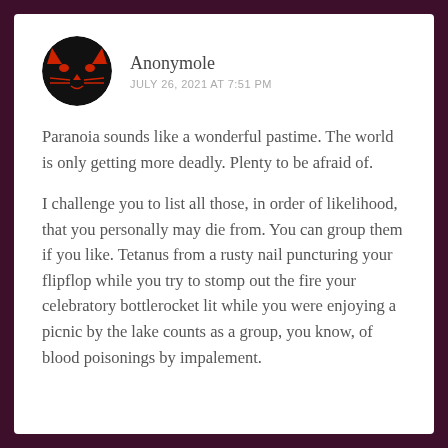[Figure (illustration): Circular avatar with black background and red stylized cat/mask face design]
Anonymole
JULY 26, 2021 AT 7:51 PM
Paranoia sounds like a wonderful pastime. The world is only getting more deadly. Plenty to be afraid of.
I challenge you to list all those, in order of likelihood, that you personally may die from. You can group them if you like. Tetanus from a rusty nail puncturing your flipflop while you try to stomp out the fire your celebratory bottlerocket lit while you were enjoying a picnic by the lake counts as a group, you know, of blood poisonings by impalement.